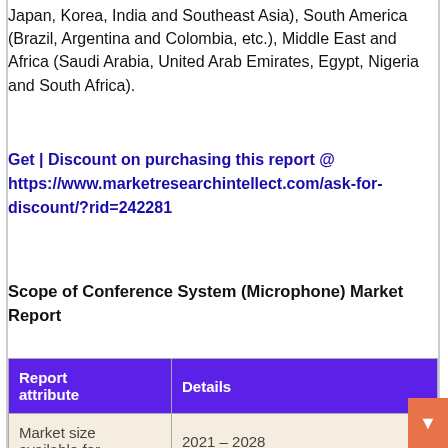Japan, Korea, India and Southeast Asia), South America (Brazil, Argentina and Colombia, etc.), Middle East and Africa (Saudi Arabia, United Arab Emirates, Egypt, Nigeria and South Africa).
Get | Discount on purchasing this report @ https://www.marketresearchintellect.com/ask-for-discount/?rid=242281
Scope of Conference System (Microphone) Market Report
| Report attribute | Details |
| --- | --- |
| Market size available for | 2021 – 2028 |